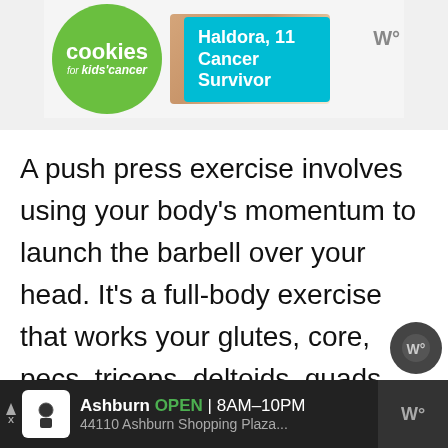[Figure (screenshot): Advertisement banner for 'cookies for kids' cancer' showing a green circle logo with text, a teal box with 'Haldora, 11 Cancer Survivor', and food imagery in the background.]
A push press exercise involves using your body's momentum to launch the barbell over your head. It's a full-body exercise that works your glutes, core, pecs, triceps, deltoids, quads, and lower back muscles in one movement. This helps to improve your overall strength and physicality and is often used by advanced lifters as an effective compound exercise.
[Figure (screenshot): Bottom advertisement banner on dark background showing Ashburn location, OPEN 8AM-10PM, address 44110 Ashburn Shopping Plaza..., with navigation icon.]